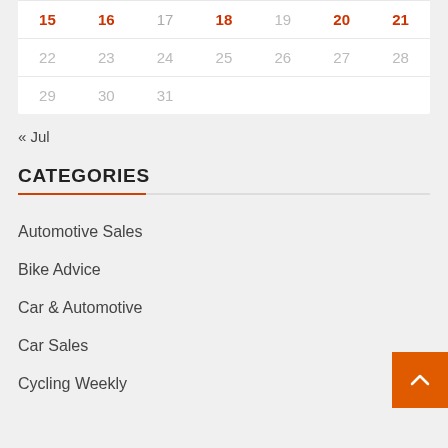| 15 | 16 | 17 | 18 | 19 | 20 | 21 |
| 22 | 23 | 24 | 25 | 26 | 27 | 28 |
| 29 | 30 | 31 |  |  |  |  |
« Jul
CATEGORIES
Automotive Sales
Bike Advice
Car & Automotive
Car Sales
Cycling Weekly